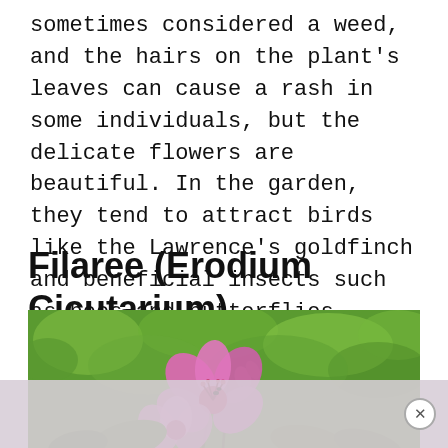sometimes considered a weed, and the hairs on the plant's leaves can cause a rash in some individuals, but the delicate flowers are beautiful. In the garden, they tend to attract birds like the Lawrence's goldfinch and beneficial insects such as bees and butterflies.
Filaree (Erodium Cicutarium)
[Figure (photo): Close-up photograph of pink/purple Filaree (Erodium Cicutarium) flowers with a green blurred background. The flowers have delicate pink-purple petals with visible stamens.]